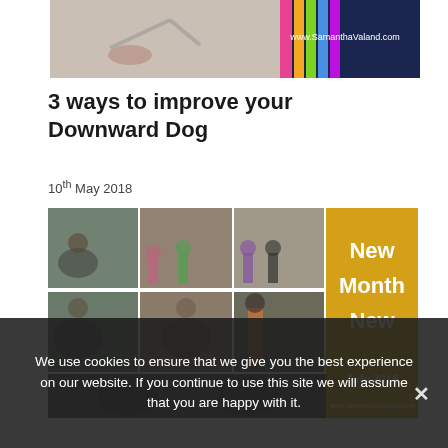[Figure (photo): Top banner image showing a yoga pose (downward dog / lunge) with resistance bands on right side and www.SamanthaValand.com text on dark blue background]
3 ways to improve your Downward Dog
10th May 2018
[Figure (photo): Collage of fitness/workout images with women exercising, yoga poses, resistance bands, and text: New Month New [Goal?] July 2018 www.SamanthaValand.com on golden/yellow background]
We use cookies to ensure that we give you the best experience on our website. If you continue to use this site we will assume that you are happy with it.